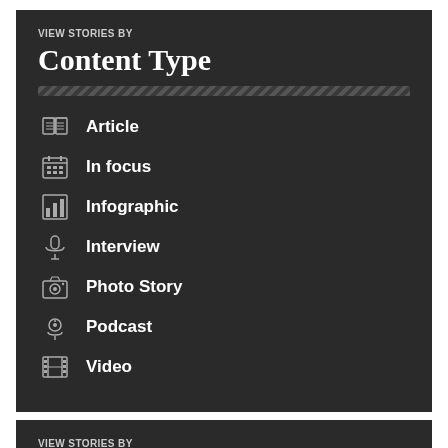VIEW STORIES BY
Content Type
Article
In focus
Infographic
Interview
Photo Story
Podcast
Video
VIEW STORIES BY
Filtering